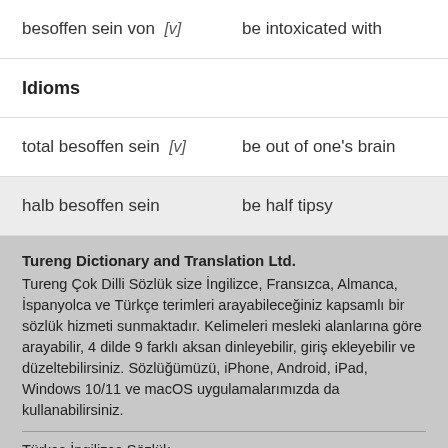| Term | Translation |
| --- | --- |
| besoffen sein von [v] | be intoxicated with |
| Idioms |  |
| total besoffen sein [v] | be out of one's brain |
| halb besoffen sein | be half tipsy |
Tureng Dictionary and Translation Ltd.
Tureng Çok Dilli Sözlük size İngilizce, Fransızca, Almanca, İspanyolca ve Türkçe terimleri arayabileceğiniz kapsamlı bir sözlük hizmeti sunmaktadır. Kelimeleri mesleki alanlarına göre arayabilir, 4 dilde 9 farklı aksan dinleyebilir, giriş ekleyebilir ve düzeltebilirsiniz. Sözlüğümüzü, iPhone, Android, iPad, Windows 10/11 ve macOS uygulamalarımızda da kullanabilirsiniz.
Türkçe İngilizce Sözlük
Almanca İngilizce Sözlük